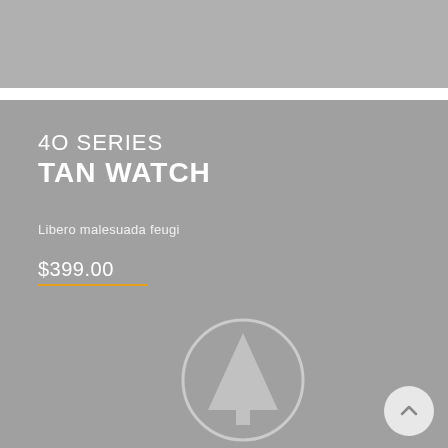[Figure (photo): Top gray banner/header image area]
[Figure (photo): Large gray product hero section background]
40 SERIES
TAN WATCH
Libero malesuada feugi
$399.00
[Figure (logo): Circle with tree/mountain triangle icon in lighter gray]
[Figure (other): Back-to-top button with upward chevron arrow]